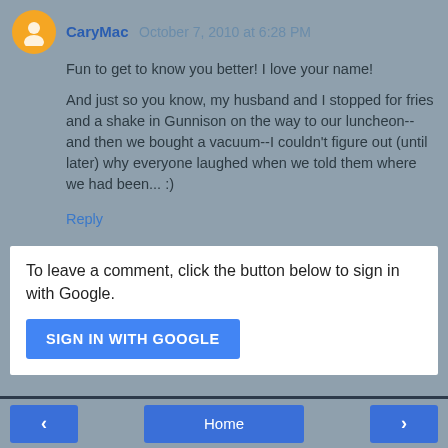CaryMac October 7, 2010 at 6:28 PM
Fun to get to know you better! I love your name!
And just so you know, my husband and I stopped for fries and a shake in Gunnison on the way to our luncheon--and then we bought a vacuum--I couldn't figure out (until later) why everyone laughed when we told them where we had been... :)
Reply
To leave a comment, click the button below to sign in with Google.
SIGN IN WITH GOOGLE
I am a comment junkie. Thanks for supporting my addiction. It is greatly appreciated!
< Home >